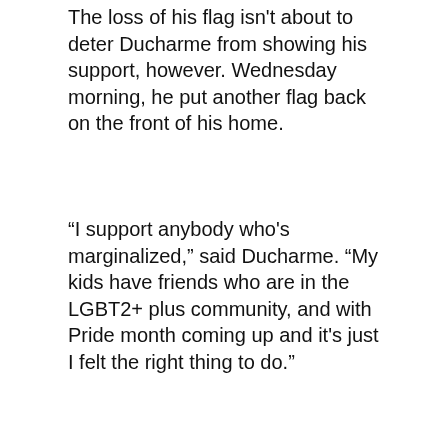The loss of his flag isn't about to deter Ducharme from showing his support, however. Wednesday morning, he put another flag back on the front of his home.
“I support anybody who's marginalized,” said Ducharme. “My kids have friends who are in the LGBT2+ plus community, and with Pride month coming up and it's just I felt the right thing to do.”
RELATED IMAGES
[Figure (photo): A person hanging a large Progress Pride flag (rainbow with transgender flag chevron and brown/black stripes) on the front of a residential home. The house has grey siding and a shingled roof.]